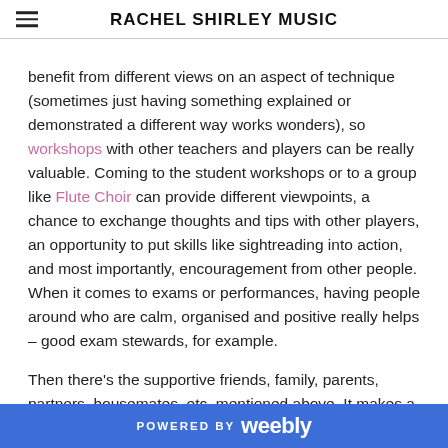RACHEL SHIRLEY MUSIC
benefit from different views on an aspect of technique (sometimes just having something explained or demonstrated a different way works wonders), so workshops with other teachers and players can be really valuable. Coming to the student workshops or to a group like Flute Choir can provide different viewpoints, a chance to exchange thoughts and tips with other players, an opportunity to put skills like sightreading into action, and most importantly, encouragement from other people. When it comes to exams or performances, having people around who are calm, organised and positive really helps – good exam stewards, for example.
Then there's the supportive friends, family, parents, partners, housemates, etc, mentioned above. It makes a huge difference to have people who are on your side when you're
POWERED BY weebly